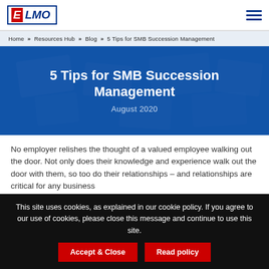ELMO
Home » Resources Hub » Blog » 5 Tips for SMB Succession Management
5 Tips for SMB Succession Management
August 2020
No employer relishes the thought of a valued employee walking out the door. Not only does their knowledge and experience walk out the door with them, so too do their relationships – and relationships are critical for any business
This site uses cookies, as explained in our cookie policy. If you agree to our use of cookies, please close this message and continue to use this site.